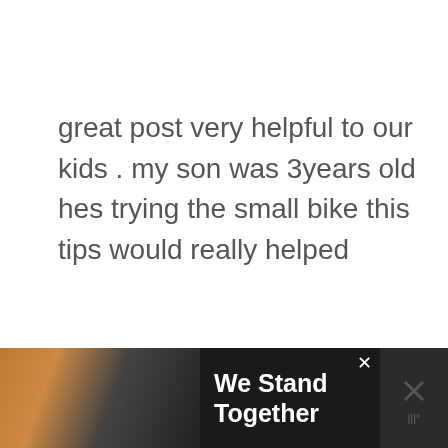great post very helpful to our kids . my son was 3years old hes trying the small bike this tips would really helped
Reply
ANGIE
JULY 2, 2015 AT 1:32 AM
[Figure (screenshot): Advertisement banner: group of people with text 'We Stand Together' on dark background with close button]
[Figure (other): Share button icon (circular button with share symbol and plus sign)]